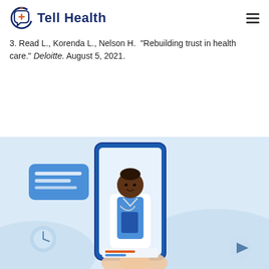Tell Health
3. Read L., Korenda L., Nelson H. "Rebuilding trust in health care." Deloitte. August 5, 2021.
[Figure (illustration): Illustration of a telehealth consultation: a dark-skinned female doctor in a white coat with stethoscope holding a clipboard, emerging from a smartphone screen. A speech bubble with text lines appears to the left. A hand holds the phone from below. Background features soft blue hills and abstract shapes. A clock icon appears bottom-left, and a play button bottom-right.]